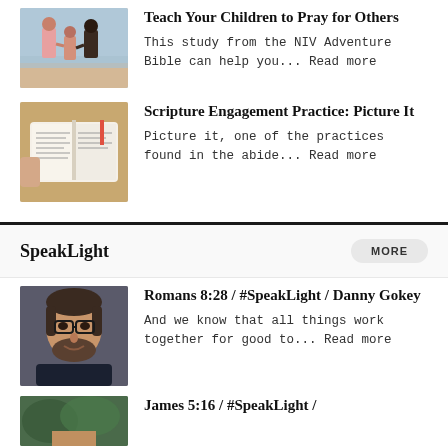[Figure (photo): Three children holding hands on a beach, viewed from behind]
Teach Your Children to Pray for Others
This study from the NIV Adventure Bible can help you... Read more
[Figure (photo): Open Bible on a wooden table]
Scripture Engagement Practice: Picture It
Picture it, one of the practices found in the abide... Read more
SpeakLight
[Figure (photo): Portrait of Danny Gokey, man with glasses]
Romans 8:28 / #SpeakLight / Danny Gokey
And we know that all things work together for good to... Read more
[Figure (photo): Portrait photo partially visible at bottom]
James 5:16 / #SpeakLight /